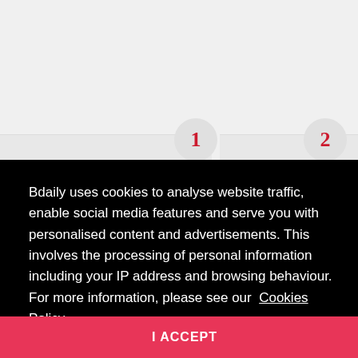[Figure (infographic): Partial view of a step-based infographic with numbered circles. Circle '1' on the left section and circle '2' on the right section are visible, with light gray background bars. Partial text visible on the far right.]
Bdaily uses cookies to analyse website traffic, enable social media features and serve you with personalised content and advertisements. This involves the processing of personal information including your IP address and browsing behaviour. For more information, please see our Cookies Policy
I ACCEPT